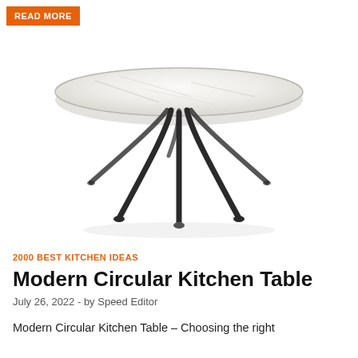READ MORE
[Figure (photo): A modern circular kitchen table with a white/light marble round top and dark wrought-iron spider-leg base with curved legs meeting at a central point.]
2000 BEST KITCHEN IDEAS
Modern Circular Kitchen Table
July 26, 2022  -  by Speed Editor
Modern Circular Kitchen Table – Choosing the right